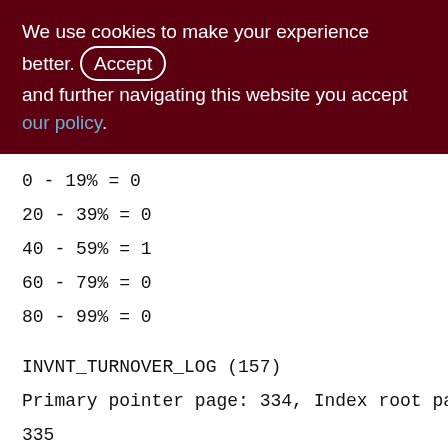We use cookies to make your experience better. By accepting and further navigating this website you accept our policy.
0 - 19% = 0
20 - 39% = 0
40 - 59% = 1
60 - 79% = 0
80 - 99% = 0
INVNT_TURNOVER_LOG (157)
Primary pointer page: 334, Index root page: 335
Total formats: 1, used formats: 1
Average record length: 8.30, total records: 1053